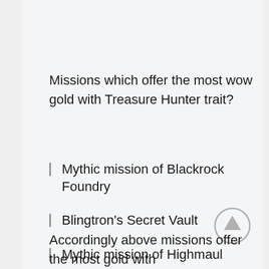Missions which offer the most wow gold with Treasure Hunter trait?
Mythic mission of Blackrock Foundry
Blingtron's Secret Vault
Mythic mission of Highmaul
A Way Out
Fired Up
The Golden Halls of Skyreach
Accordingly above missions offer the most gold with